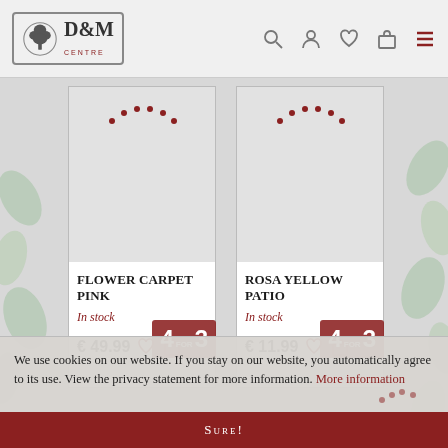[Figure (logo): D&M Centre logo with tree icon]
FLOWER CARPET PINK
In stock
€ 49.99
ROSA YELLOW PATIO
In stock
€ 11.99
We use cookies on our website. If you stay on our website, you automatically agree to its use. View the privacy statement for more information. More information
Sure!